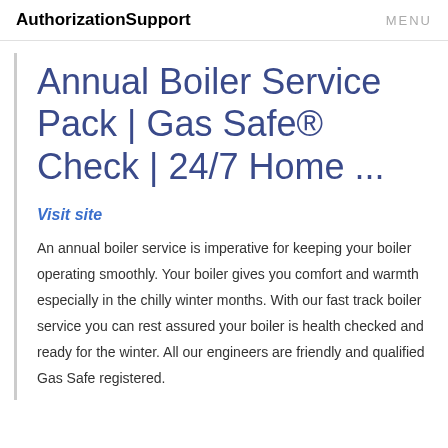AuthorizationSupport   MENU
Annual Boiler Service Pack | Gas Safe® Check | 24/7 Home ...
Visit site
An annual boiler service is imperative for keeping your boiler operating smoothly. Your boiler gives you comfort and warmth especially in the chilly winter months. With our fast track boiler service you can rest assured your boiler is health checked and ready for the winter. All our engineers are friendly and qualified Gas Safe registered.